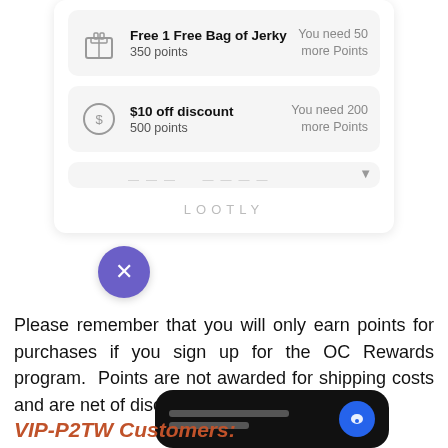[Figure (screenshot): App screenshot showing loyalty rewards: 'Free 1 Free Bag of Jerky 350 points - You need 50 more Points', '$10 off discount 500 points - You need 200 more Points', partial third card, LOOTLY watermark, purple close button with X]
Please remember that you will only earn points for purchases if you sign up for the OC Rewards program.  Points are not awarded for shipping costs and are net of discounts.
[Figure (screenshot): Chat widget with dark background showing text lines and blue chat bubble icon]
VIP-P2TW Customers: